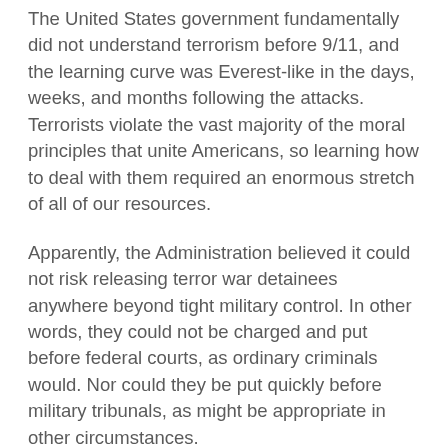The United States government fundamentally did not understand terrorism before 9/11, and the learning curve was Everest-like in the days, weeks, and months following the attacks. Terrorists violate the vast majority of the moral principles that unite Americans, so learning how to deal with them required an enormous stretch of all of our resources.
Apparently, the Administration believed it could not risk releasing terror war detainees anywhere beyond tight military control. In other words, they could not be charged and put before federal courts, as ordinary criminals would. Nor could they be put quickly before military tribunals, as might be appropriate in other circumstances.
It is a natural instinct to want to isolate a terrorist when one fears that if the terrorist has the opportunity to scratch his nose on television, another 9/11 will be ignited. And in those early days, we were all waiting for